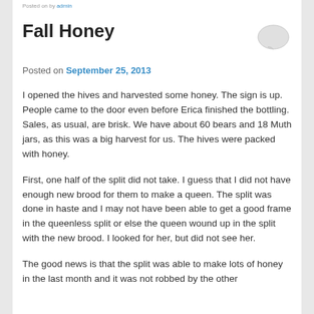Posted on by admin
Fall Honey
Posted on September 25, 2013
I opened the hives and harvested some honey. The sign is up. People came to the door even before Erica finished the bottling. Sales, as usual, are brisk. We have about 60 bears and 18 Muth jars, as this was a big harvest for us. The hives were packed with honey.
First, one half of the split did not take. I guess that I did not have enough new brood for them to make a queen. The split was done in haste and I may not have been able to get a good frame in the queenless split or else the queen wound up in the split with the new brood. I looked for her, but did not see her.
The good news is that the split was able to make lots of honey in the last month and it was not robbed by the other